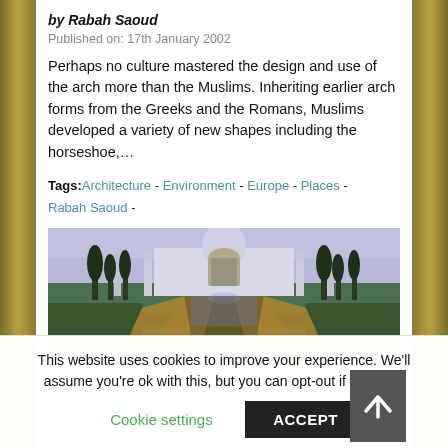by Rabah Saoud
Published on: 17th January 2002
Perhaps no culture mastered the design and use of the arch more than the Muslims. Inheriting earlier arch forms from the Greeks and the Romans, Muslims developed a variety of new shapes including the horseshoe,…
Tags: Architecture - Environment - Europe - Places - Rabah Saoud -
[Figure (photo): Photograph of the Taj Mahal with a long reflecting pool lined by cypress trees leading to the main white marble mausoleum with its central arch and minarets.]
This website uses cookies to improve your experience. We'll assume you're ok with this, but you can opt-out if you wish.
Cookie settings  ACCEPT